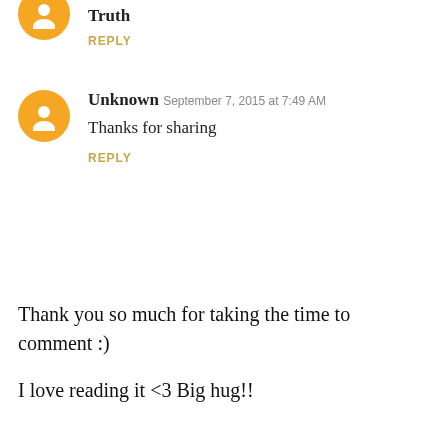Truth
REPLY
Unknown  September 7, 2015 at 7:49 AM
Thanks for sharing
REPLY
Thank you so much for taking the time to comment :)
I love reading it <3 Big hug!!